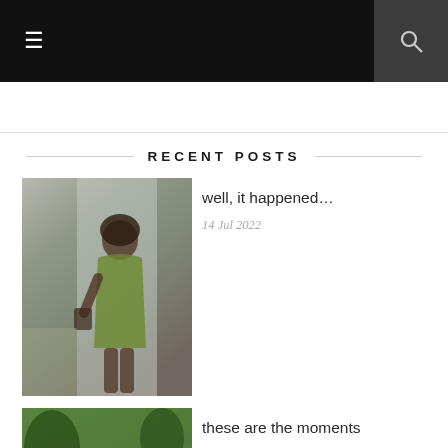≡  🔍
RECENT POSTS
[Figure (photo): Woman in green dress leaning against a wall outdoors]
well, it happened…
14 Jul 2022
[Figure (photo): Two people sitting on grass in a park]
these are the moments
08 Jun 2022
[Figure (photo): Waterfront view with blue sky and city skyline]
an evening in hoboken
31 May 2022